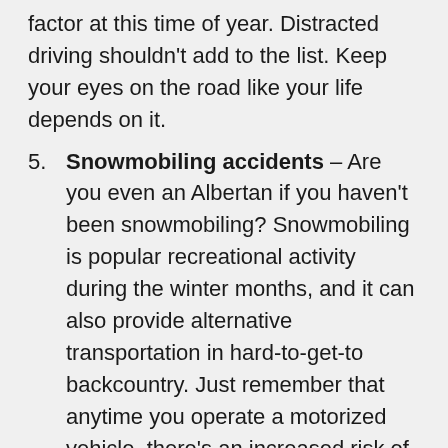factor at this time of year. Distracted driving shouldn't add to the list. Keep your eyes on the road like your life depends on it.
Snowmobiling accidents – Are you even an Albertan if you haven't been snowmobiling? Snowmobiling is popular recreational activity during the winter months, and it can also provide alternative transportation in hard-to-get-to backcountry. Just remember that anytime you operate a motorized vehicle, there's an increased risk of injury. Wear a helmet. Watch your speed. And if a snowmobiling injury occurs as a result of someone else's negligence, you may be able to claim compensation for your